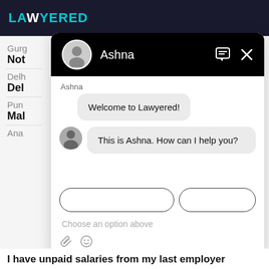[Figure (screenshot): Lawyered website with chat widget open. Chat bot named Ashna welcomes the user and asks how it can help. Background shows city/lawyer listings.]
Welcome to Lawyered!
This is Ashna. How can I help you?
Choose an option above
I have unpaid salaries from my last employer